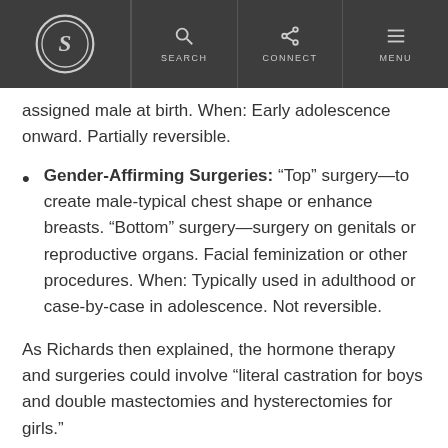S logo | SEARCH | CONNECT | MENU
assigned male at birth. When: Early adolescence onward. Partially reversible.
Gender-Affirming Surgeries: “Top” surgery—to create male-typical chest shape or enhance breasts. “Bottom” surgery—surgery on genitals or reproductive organs. Facial feminization or other procedures. When: Typically used in adulthood or case-by-case in adolescence. Not reversible.
As Richards then explained, the hormone therapy and surgeries could involve “literal castration for boys and double mastectomies and hysterectomies for girls.”